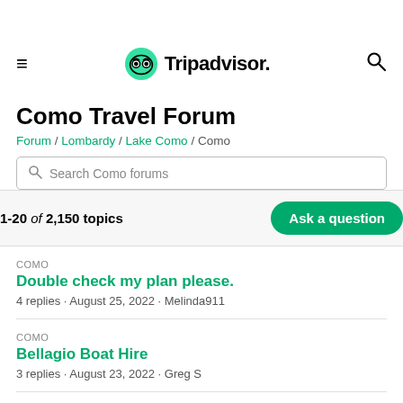Tripadvisor
Como Travel Forum
Forum / Lombardy / Lake Como / Como
Search Como forums
1-20 of 2,150 topics
COMO
Double check my plan please.
4 replies · August 25, 2022 · Melinda911
COMO
Bellagio Boat Hire
3 replies · August 23, 2022 · Greg S
COMO
Taking Farther...